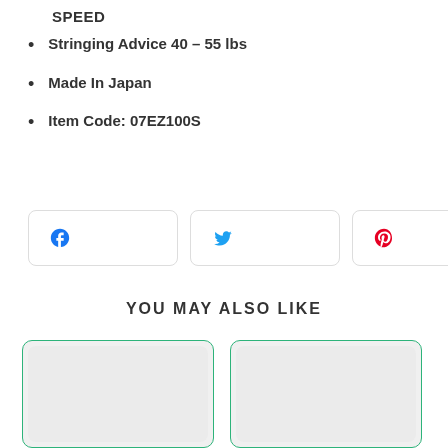SPEED
Stringing Advice 40 – 55 lbs
Made In Japan
Item Code: 07EZ100S
[Figure (other): Social share buttons: Facebook, Twitter, Pinterest]
YOU MAY ALSO LIKE
[Figure (other): Two product card placeholders with green borders and light gray backgrounds]